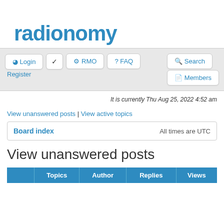radionomy
Login | Register | RMO | FAQ | Search | Members
It is currently Thu Aug 25, 2022 4:52 am
View unanswered posts | View active topics
Board index   All times are UTC
View unanswered posts
| Topics | Author | Replies | Views |
| --- | --- | --- | --- |